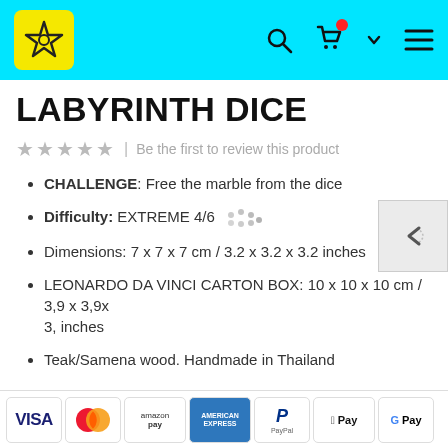Navigation bar with logo, search, cart, and menu icons
LABYRINTH DICE
★★★★★ | Be the first to review this product
CHALLENGE: Free the marble from the dice
Difficulty: EXTREME 4/6
Dimensions: 7 x 7 x 7 cm / 3.2 x 3.2 x 3.2 inches
LEONARDO DA VINCI CARTON BOX: 10 x 10 x 10 cm / 3,9 x 3,9x 3, inches
Teak/Samena wood. Handmade in Thailand
[Figure (other): Payment method badges: VISA, MasterCard, amazon pay, AMERICAN EXPRESS, PayPal, Apple Pay, Google Pay]